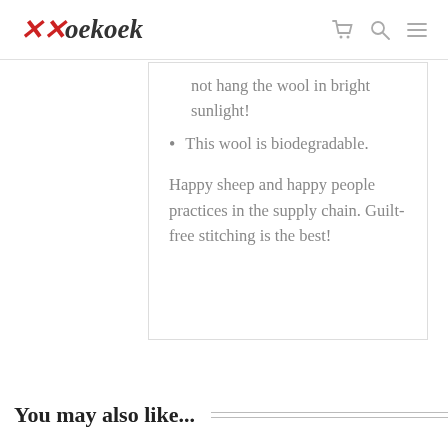Koekoek
not hang the wool in bright sunlight!
This wool is biodegradable.
Happy sheep and happy people practices in the supply chain. Guilt-free stitching is the best!
You may also like...